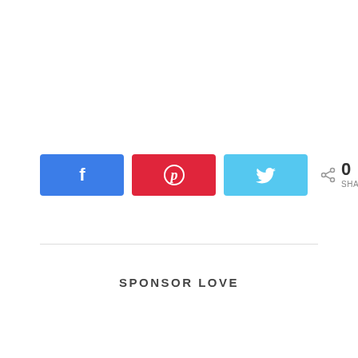[Figure (infographic): Social share buttons row: Facebook (blue), Pinterest (red), Twitter (light blue) buttons, followed by a share icon and '0 SHARES' count]
0
SHARES
SPONSOR LOVE